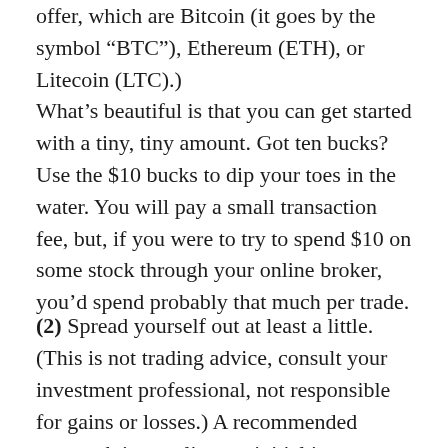offer, which are Bitcoin (it goes by the symbol “BTC”), Ethereum (ETH), or Litecoin (LTC).)
What’s beautiful is that you can get started with a tiny, tiny amount. Got ten bucks? Use the $10 bucks to dip your toes in the water. You will pay a small transaction fee, but, if you were to try to spend $10 on some stock through your online broker, you’d spend probably that much per trade.
(2) Spread yourself out at least a little. (This is not trading advice, consult your investment professional, not responsible for gains or losses.) A recommended approach is to split your initial investment between two coins – Bitcoin and